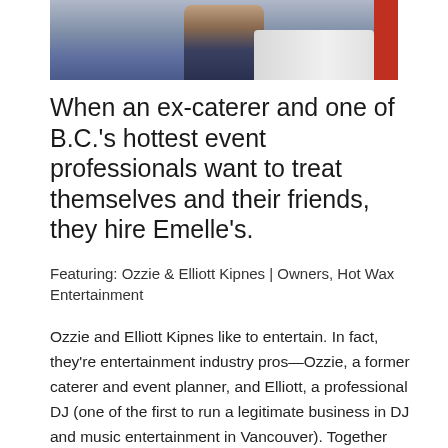[Figure (photo): Partial photo showing a person in jeans and a dark top near a white vehicle, with a red element on the right edge. Photo is cropped showing only the lower body portion.]
When an ex-caterer and one of B.C.'s hottest event professionals want to treat themselves and their friends, they hire Emelle's.
Featuring: Ozzie & Elliott Kipnes | Owners, Hot Wax Entertainment
Ozzie and Elliott Kipnes like to entertain. In fact, they're entertainment industry pros—Ozzie, a former caterer and event planner, and Elliott, a professional DJ (one of the first to run a legitimate business in DJ and music entertainment in Vancouver). Together they run Hot Wax Entertainment, a DJ and entertainment company that's been setting the tone at some of Vancouver's highest profile events at venues like the Vancouver Golf Club and Brock House